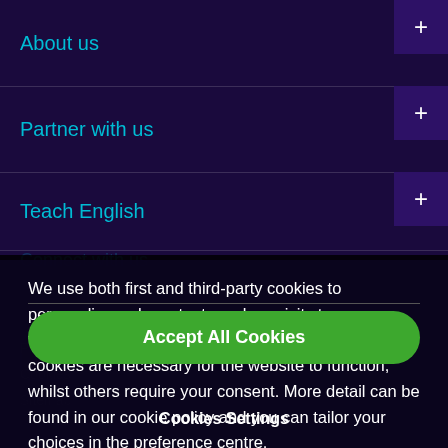About us
Partner with us
Teach English
Connect with us
We use both first and third-party cookies to personalise web content, analyse visits to our websites and tailor advertisements. Some of these cookies are necessary for the website to function, whilst others require your consent. More detail can be found in our cookie policy and you can tailor your choices in the preference centre.
Accept All Cookies
British Council
Privacy and terms of use
Cookies
Sitemap
Cookies Settings